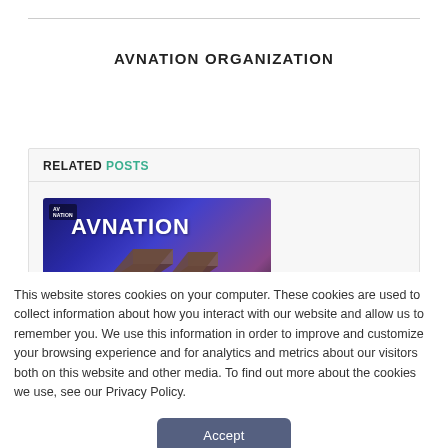AVNATION ORGANIZATION
RELATED POSTS
[Figure (photo): AVNation thumbnail image with purple/blue gradient background and AVNATION logo text]
This website stores cookies on your computer. These cookies are used to collect information about how you interact with our website and allow us to remember you. We use this information in order to improve and customize your browsing experience and for analytics and metrics about our visitors both on this website and other media. To find out more about the cookies we use, see our Privacy Policy.
Accept